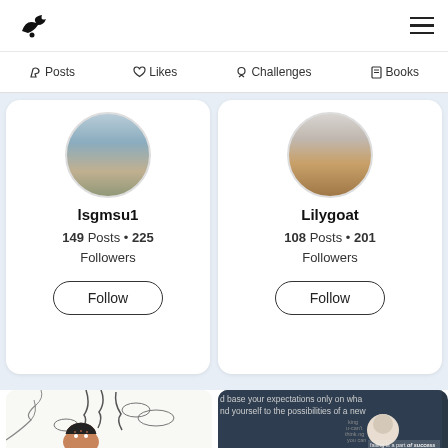Logo navigation bar with hamburger menu
Posts  Likes  Challenges  Books
[Figure (photo): Profile card for Isgmsu1 with circular avatar showing landscape, 149 Posts, 225 Followers, Follow button]
Isgmsu1
149 Posts • 225 Followers
[Figure (photo): Profile card for Lilygoat with circular avatar showing animal, 108 Posts, 201 Followers, Follow button]
Lilygoat
108 Posts • 201 Followers
[Figure (illustration): Partial view of comic-style illustration showing a man looking up with swirling lines]
[Figure (screenshot): Partial view of dark background with motivational text about expectations and possibilities, anime-style character, 'failing is a part of success so don't stop trying']